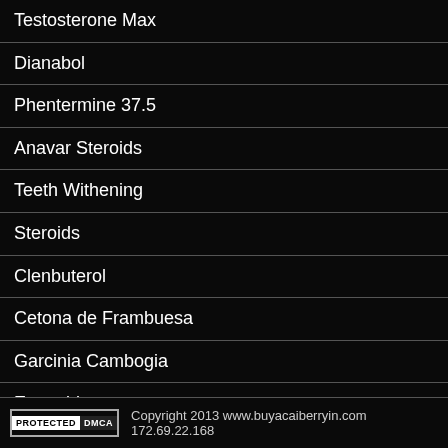Testosterone Max
Dianabol
Phentermine 37.5
Anavar Steroids
Teeth Withening
Steroids
Clenbuterol
Cetona de Frambuesa
Garcinia Cambogia
Esteroides
PROTECTED DMCA  Copyright 2013 www.buyacaiberryin.com 172.69.22.168